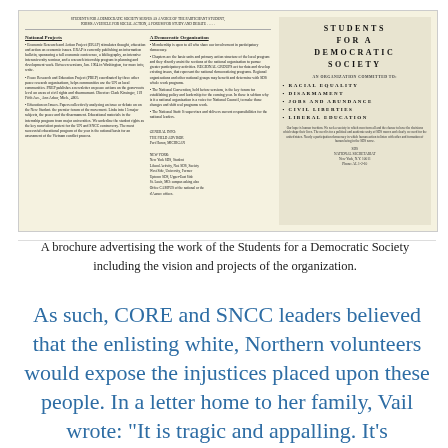[Figure (illustration): A scanned brochure advertising Students for a Democratic Society (SDS). Left side contains National Projects and A Democratic Organization sections with bullet points of program descriptions. Right side has bold spaced lettering reading STUDENTS FOR A DEMOCRATIC SOCIETY, committed to RACIAL EQUALITY, DISARMAMENT, JOBS AND ABUNDANCE, CIVIL LIBERTIES, LIBERAL EDUCATION, with contact address.]
A brochure advertising the work of the Students for a Democratic Society including the vision and projects of the organization.
As such, CORE and SNCC leaders believed that the enlisting white, Northern volunteers would expose the injustices placed upon these people. In a letter home to her family, Vail wrote: "It is tragic and appalling. It's frightening. Not only the Negroes, but poor whites,